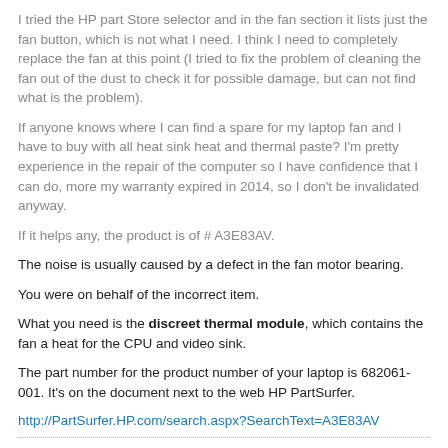I tried the HP part Store selector and in the fan section it lists just the fan button, which is not what I need. I think I need to completely replace the fan at this point (I tried to fix the problem of cleaning the fan out of the dust to check it for possible damage, but can not find what is the problem).
If anyone knows where I can find a spare for my laptop fan and I have to buy with all heat sink heat and thermal paste? I'm pretty experience in the repair of the computer so I have confidence that I can do, more my warranty expired in 2014, so I don't be invalidated anyway.
If it helps any, the product is of # A3E83AV.
The noise is usually caused by a defect in the fan motor bearing.
You were on behalf of the incorrect item.
What you need is the discreet thermal module, which contains the fan a heat for the CPU and video sink.
The part number for the product number of your laptop is 682061-001. It's on the document next to the web HP PartSurfer.
http://PartSurfer.HP.com/search.aspx?SearchText=A3E83AV
Satellite P500 - fan too loud and makes clicking noises
I recently bought a Toshiba P500 - in late October / early November, and recently the hard drive continuously flashes when there are noises rattling from the laptop (even if im not doing anything)